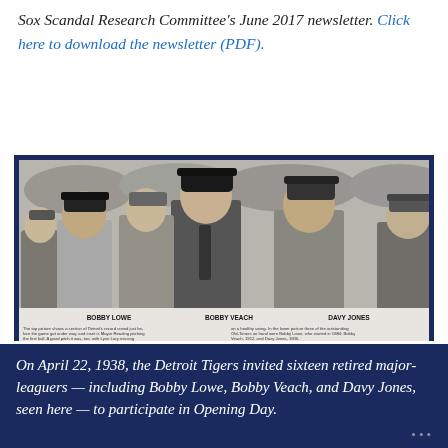Sox Scandal Research Committee's June 2017 newsletter. Click here to download the newsletter (PDF).
[Figure (photo): Black and white newspaper photograph showing a group of men wearing hats at an outdoor event. Labeled figures: Bobby Lowe, Bobby Veach, Davy Jones. Caption text describes Detroit's record crowd before a game and names the former players.]
On April 22, 1938, the Detroit Tigers invited sixteen retired major-leaguers — including Bobby Lowe, Bobby Veach, and Davy Jones, seen here — to participate in Opening Day.